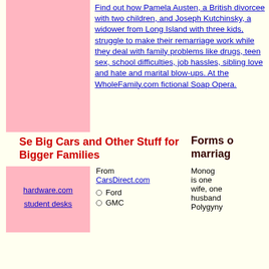[Figure (other): Pink rectangular box on left side, top section]
Find out how Pamela Austen, a British divorcee with two children, and Joseph Kutchinsky, a widower from Long Island with three kids, struggle to make their remarriage work while they deal with family problems like drugs, teen sex, school difficulties, job hassles, sibling love and hate and marital blow-ups. At the WholeFamily.com fictional Soap Opera.
Se Big Cars and Other Stuff for Bigger Families
Forms of marriage
[Figure (other): Pink rectangular box on left side, bottom section]
hardware.com
student desks
From CarsDirect.com
Ford
GMC
Monogamy is one wife, one husband Polygymy